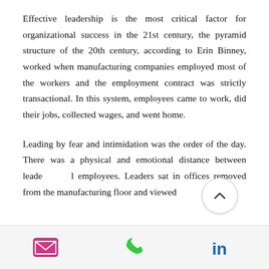Effective leadership is the most critical factor for organizational success in the 21st century, the pyramid structure of the 20th century, according to Erin Binney, worked when manufacturing companies employed most of the workers and the employment contract was strictly transactional. In this system, employees came to work, did their jobs, collected wages, and went home.
Leading by fear and intimidation was the order of the day. There was a physical and emotional distance between leaders and employees. Leaders sat in offices removed from the manufacturing floor and viewed
[Figure (other): Scroll-up circular button with a chevron/caret pointing upward, overlaid on the text content area.]
Email icon, Phone icon, LinkedIn icon